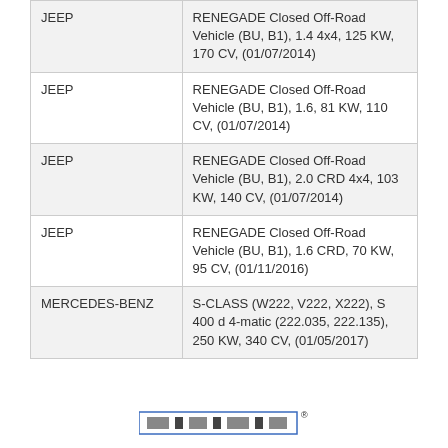| JEEP | RENEGADE Closed Off-Road Vehicle (BU, B1), 1.4 4x4, 125 KW, 170 CV, (01/07/2014) |
| JEEP | RENEGADE Closed Off-Road Vehicle (BU, B1), 1.6, 81 KW, 110 CV, (01/07/2014) |
| JEEP | RENEGADE Closed Off-Road Vehicle (BU, B1), 2.0 CRD 4x4, 103 KW, 140 CV, (01/07/2014) |
| JEEP | RENEGADE Closed Off-Road Vehicle (BU, B1), 1.6 CRD, 70 KW, 95 CV, (01/11/2016) |
| MERCEDES-BENZ | S-CLASS (W222, V222, X222), S 400 d 4-matic (222.035, 222.135), 250 KW, 340 CV, (01/05/2017) |